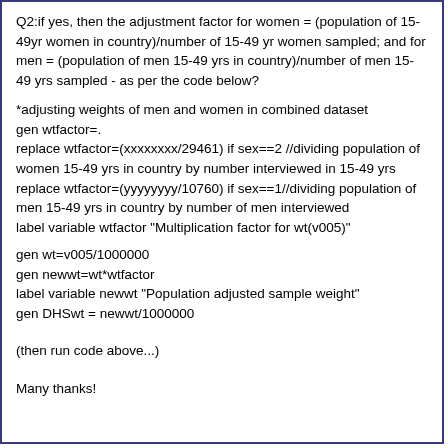Q2:if yes, then the adjustment factor for women = (population of 15-49yr women in country)/number of 15-49 yr women sampled; and for men = (population of men 15-49 yrs in country)/number of men 15-49 yrs sampled - as per the code below?
*adjusting weights of men and women in combined dataset
gen wtfactor=.
replace wtfactor=(xxxxxxxx/29461) if sex==2 //dividing population of women 15-49 yrs in country by number interviewed in 15-49 yrs
replace wtfactor=(yyyyyyyy/10760) if sex==1//dividing population of men 15-49 yrs in country by number of men interviewed
label variable wtfactor "Multiplication factor for wt(v005)"

gen wt=v005/1000000
gen newwt=wt*wtfactor
label variable newwt "Population adjusted sample weight"
gen DHSwt = newwt/1000000
(then run code above...)
Many thanks!